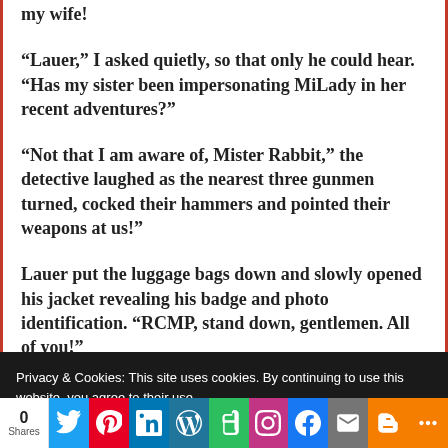my wife!
“Lauer,” I asked quietly, so that only he could hear. “Has my sister been impersonating MiLady in her recent adventures?”
“Not that I am aware of, Mister Rabbit,” the detective laughed as the nearest three gunmen turned, cocked their hammers and pointed their weapons at us!”
Lauer put the luggage bags down and slowly opened his jacket revealing his badge and photo identification. “RCMP, stand down, gentlemen. All of you!”
Privacy & Cookies: This site uses cookies. By continuing to use this website, you agree to their use.
To find out more, including how to control cookies, see here: Cookie Policy
Close and accept
0
Shares